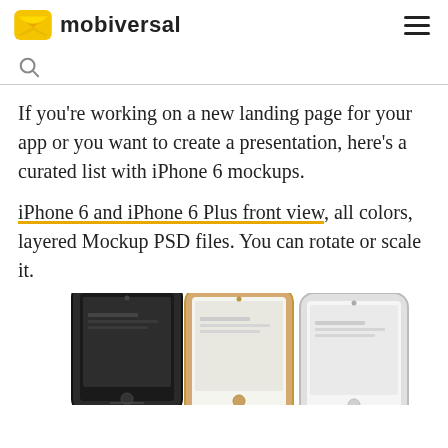mobiversal
If you're working on a new landing page for your app or you want to create a presentation, here's a curated list with iPhone 6 mockups.
iPhone 6 and iPhone 6 Plus front view, all colors, layered Mockup PSD files. You can rotate or scale it.
[Figure (photo): Three iPhone 6 devices shown from above at an angle, in black, gold/white, and silver/white colors, partially cropped at the bottom of the page.]